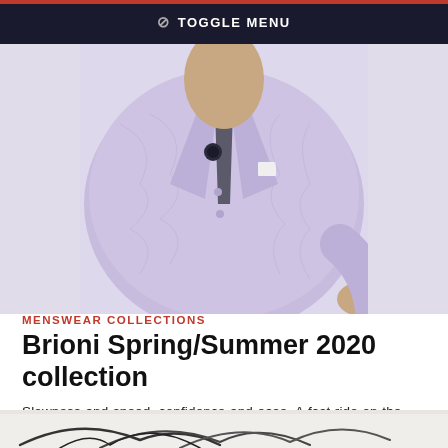TOGGLE MENU
[Figure (photo): Man wearing a lavender/lilac patterned double-breasted blazer with dark shirt and boutonnière, fashion editorial photo]
MENSWEAR COLLECTIONS
Brioni Spring/Summer 2020 collection
Slowness and speed, confidence and ease. A fast ride on the car, at sunset. Enjoying sunrise walking quietly along the river Tiber. Brioni keeps evolving its sartorial code while keeping true to the roots. Roman roots: an attitude towards dressing that's nonchalant, probably a bit absent minded, and masculinely so.
11 FEBRUARY, 2020
[Figure (photo): Bottom partial view of another fashion editorial photo, light background with dark curved lines]